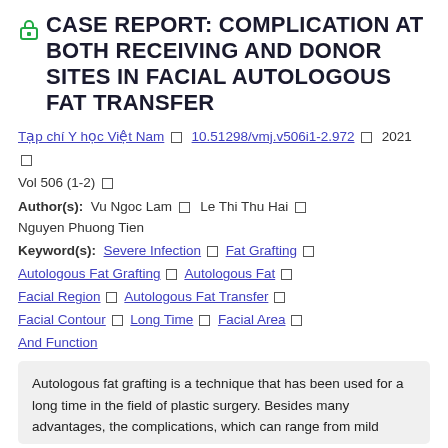CASE REPORT: COMPLICATION AT BOTH RECEIVING AND DONOR SITES IN FACIAL AUTOLOGOUS FAT TRANSFER
Tạp chí Y học Việt Nam □ 10.51298/vmj.v506i1-2.972 □ 2021 □ Vol 506 (1-2) □
Author(s): Vu Ngoc Lam □ Le Thi Thu Hai □ Nguyen Phuong Tien
Keyword(s): Severe Infection □ Fat Grafting □ Autologous Fat Grafting □ Autologous Fat □ Facial Region □ Autologous Fat Transfer □ Facial Contour □ Long Time □ Facial Area □ And Function
Autologous fat grafting is a technique that has been used for a long time in the field of plastic surgery. Besides many advantages, the complications, which can range from mild